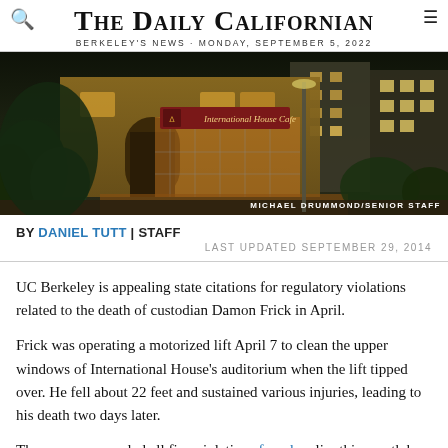THE DAILY CALIFORNIAN
BERKELEY'S NEWS · MONDAY, SEPTEMBER 5, 2022
[Figure (photo): Nighttime exterior photo of International House Cafe building in Berkeley, showing the illuminated sign and building facade with surrounding greenery.]
MICHAEL DRUMMOND/SENIOR STAFF
BY DANIEL TUTT | STAFF
LAST UPDATED SEPTEMBER 29, 2014
UC Berkeley is appealing state citations for regulatory violations related to the death of custodian Damon Frick in April.
Frick was operating a motorized lift April 7 to clean the upper windows of International House's auditorium when the lift tipped over. He fell about 22 feet and sustained various injuries, leading to his death two days later.
The campus appealed all five violations found earlier this month by